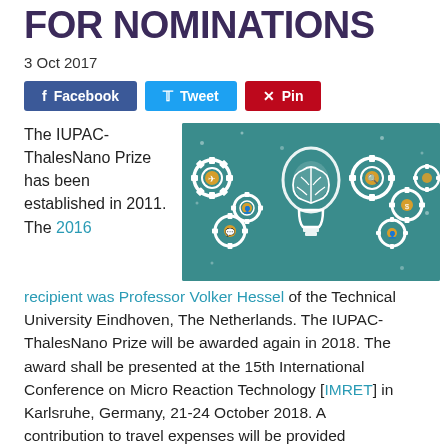FOR NOMINATIONS
3 Oct 2017
[Figure (other): Social sharing buttons: Facebook, Tweet, Pin]
The IUPAC-ThalesNano Prize has been established in 2011. The 2016 recipient was Professor Volker Hessel of the Technical University Eindhoven, The Netherlands. The IUPAC-ThalesNano Prize will be awarded again in 2018. The award shall be presented at the 15th International Conference on Micro Reaction Technology [IMRET] in Karlsruhe, Germany, 21-24 October 2018.  A contribution to travel expenses will be provided
[Figure (illustration): Teal/green background image with gears and a glowing light bulb containing a brain graphic, suggesting innovation and ideas]